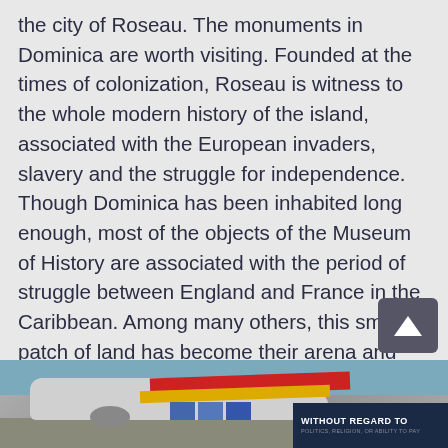the city of Roseau. The monuments in Dominica are worth visiting. Founded at the times of colonization, Roseau is witness to the whole modern history of the island, associated with the European invaders, slavery and the struggle for independence. Though Dominica has been inhabited long enough, most of the objects of the Museum of History are associated with the period of struggle between England and France in the Caribbean. Among many others, this small patch of land has become their arena and important monuments in Dominica become center of attractions. The variety of exhibits will allow learning a lot about how the modern culture of Dominica was formed. A small number of surviving Aboriginal artifacts are also represented here in the form of historical monuments in Dominica:
[Figure (photo): Advertisement banner showing a cargo airplane on a tarmac with red and yellow tail livery, with a dark blue text box overlay reading 'WITHOUT REGARD TO' in white bold text with smaller subtext below]